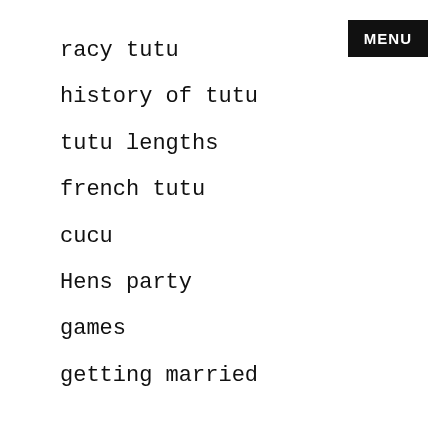MENU
racy tutu
history of tutu
tutu lengths
french tutu
cucu
Hens party
games
getting married